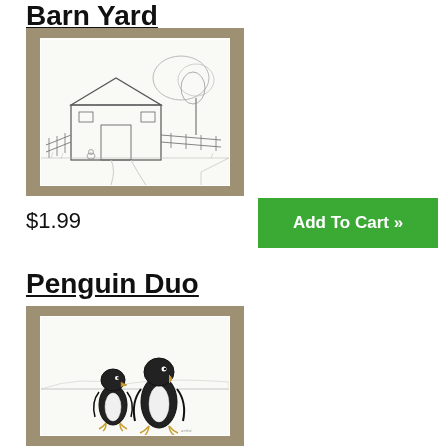Barn Yard
[Figure (illustration): Pencil sketch illustration of a barn yard scene on a greeting card with tan/khaki card background]
$1.99
Add To Cart »
Penguin Duo
[Figure (illustration): Pencil sketch illustration of two penguins standing side by side on a greeting card with tan/khaki card background]